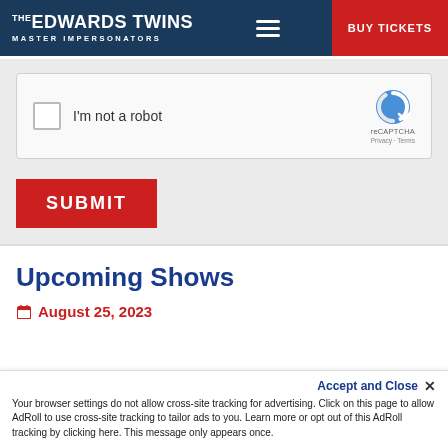THE EDWARDS TWINS MASTER IMPERSONATORS | BUY TICKETS
[Figure (screenshot): reCAPTCHA checkbox widget with 'I'm not a robot' label and reCAPTCHA logo with Privacy and Terms links]
SUBMIT
Upcoming Shows
August 25, 2023
Your browser settings do not allow cross-site tracking for advertising. Click on this page to allow AdRoll to use cross-site tracking to tailor ads to you. Learn more or opt out of this AdRoll tracking by clicking here. This message only appears once.